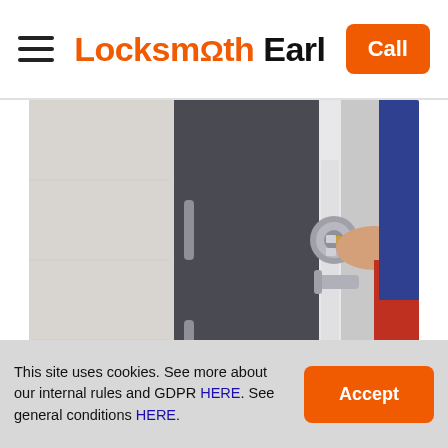Locksmith Earl — Call
[Figure (photo): A locksmith in a red shirt and blue overalls inserting a key into a door lock knob on a modern dark door]
Emergency Locksmith Greenhill
This site uses cookies. See more about our internal rules and GDPR HERE. See general conditions HERE.